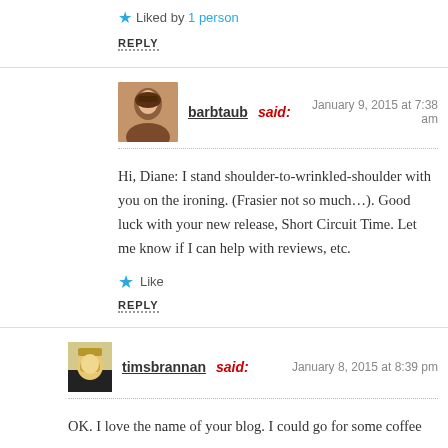★ Liked by 1 person
REPLY
barbtaub said: January 9, 2015 at 7:38 am
Hi, Diane: I stand shoulder-to-wrinkled-shoulder with you on the ironing. (Frasier not so much…). Good luck with your new release, Short Circuit Time. Let me know if I can help with reviews, etc.
★ Like
REPLY
timsbrannan said: January 8, 2015 at 8:39 pm
OK. I love the name of your blog. I could go for some coffee now.